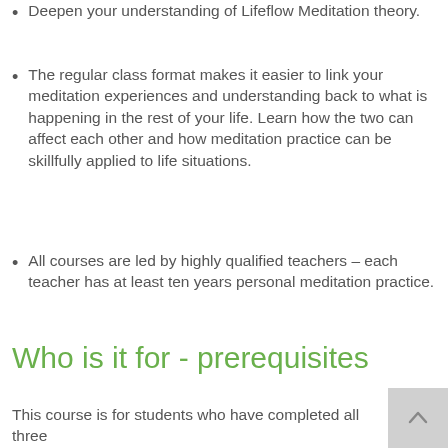Deepen your understanding of Lifeflow Meditation theory.
The regular class format makes it easier to link your meditation experiences and understanding back to what is happening in the rest of your life. Learn how the two can affect each other and how meditation practice can be skillfully applied to life situations.
All courses are led by highly qualified teachers – each teacher has at least ten years personal meditation practice.
Who is it for - prerequisites
This course is for students who have completed all three